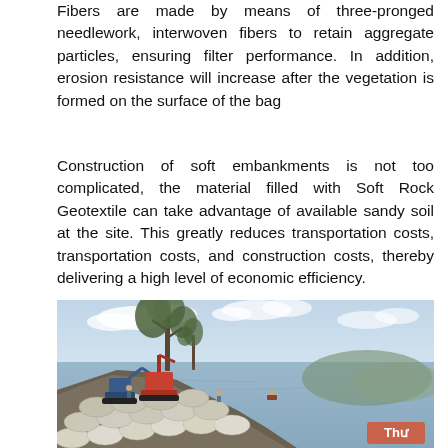Fibers are made by means of three-pronged needlework, interwoven fibers to retain aggregate particles, ensuring filter performance. In addition, erosion resistance will increase after the vegetation is formed on the surface of the bag
Construction of soft embankments is not too complicated, the material filled with Soft Rock Geotextile can take advantage of available sandy soil at the site. This greatly reduces transportation costs, transportation costs, and construction costs, thereby delivering a high level of economic efficiency.
[Figure (photo): Photograph of construction machinery (excavators/cranes) working on geotextile bag embankment near water. Workers visible, large white geotextile bags stacked on embankment slope. Trees in background left, hill visible in distant background right. Overcast sky. Red 'Thư' badge overlay in bottom right corner.]